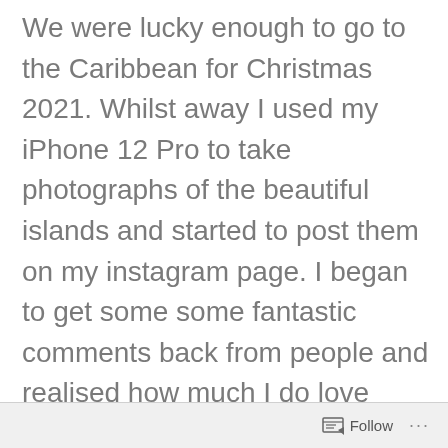We were lucky enough to go to the Caribbean for Christmas 2021. Whilst away I used my iPhone 12 Pro to take photographs of the beautiful islands and started to post them on my instagram page. I began to get some some fantastic comments back from people and realised how much I do love photography.
Follow ...